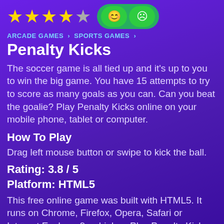[Figure (other): Star rating showing 3.8 out of 5 stars (4 gold stars, 1 partial/grey star) with two green smiley/frowny face feedback buttons]
ARCADE GAMES › SPORTS GAMES ›
Penalty Kicks
The soccer game is all tied up and it's up to you to win the big game. You have 15 attempts to try to score as many goals as you can. Can you beat the goalie? Play Penalty Kicks online on your mobile phone, tablet or computer.
How To Play
Drag left mouse button or swipe to kick the ball.
Rating: 3.8 / 5
Platform: HTML5
This free online game was built with HTML5. It runs on Chrome, Firefox, Opera, Safari or Internet Explorer 9 or higher. Play Penalty Kicks unblocked on any device. Penalty Kicks online is optimized for use on PC, Android and iOS devices, including tablets and mobile phones. This game runs directly in your browser - no downloads, no registration, no flash and